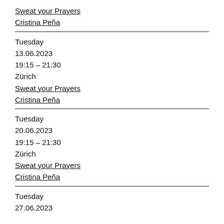Sweat your Prayers
Cristina Peña
Tuesday
13.06.2023
19:15 – 21:30
Zürich
Sweat your Prayers
Cristina Peña
Tuesday
20.06.2023
19:15 – 21:30
Zürich
Sweat your Prayers
Cristina Peña
Tuesday
27.06.2023